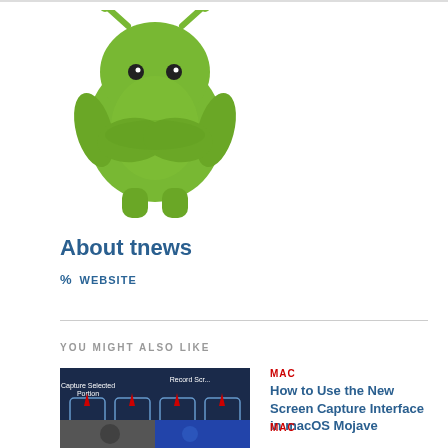[Figure (illustration): Green Android robot mascot illustration, arms folded]
About tnews
% WEBSITE
YOU MIGHT ALSO LIKE
[Figure (screenshot): Screenshot of macOS screen capture interface with red arrows pointing to options: Capture Selected Portion, Record Screen, Record Entire Screen, Options]
MAC
How to Use the New Screen Capture Interface in macOS Mojave
[Figure (photo): Partial thumbnail image, dark with blue tones]
MAC